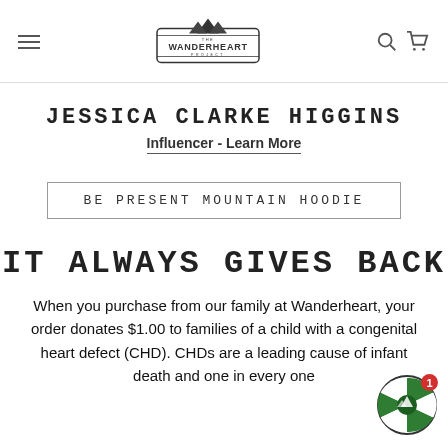The Wanderheart Project — navigation header with logo, menu, search, and cart icons
JESSICA CLARKE HIGGINS
Influencer - Learn More
BE PRESENT MOUNTAIN HOODIE
IT ALWAYS GIVES BACK
When you purchase from our family at Wanderheart, your order donates $1.00 to families of a child with a congenital heart defect (CHD). CHDs are a leading cause of infant death and one in every one